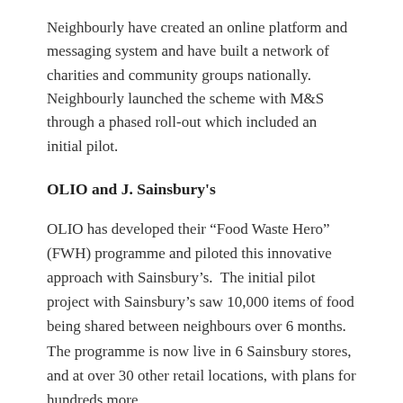Neighbourly have created an online platform and messaging system and have built a network of charities and community groups nationally. Neighbourly launched the scheme with M&S through a phased roll-out which included an initial pilot.
OLIO and J. Sainsbury's
OLIO has developed their “Food Waste Hero” (FWH) programme and piloted this innovative approach with Sainsbury’s.  The initial pilot project with Sainsbury’s saw 10,000 items of food being shared between neighbours over 6 months. The programme is now live in 6 Sainsbury stores, and at over 30 other retail locations, with plans for hundreds more.